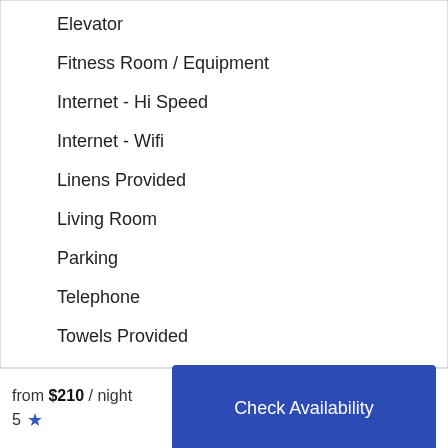Elevator
Fitness Room / Equipment
Internet - Hi Speed
Internet - Wifi
Linens Provided
Living Room
Parking
Telephone
Towels Provided
Washing Machine
[Figure (other): Info icon (circle with letter i)]
Flexcation
from $210 / night
5 ★